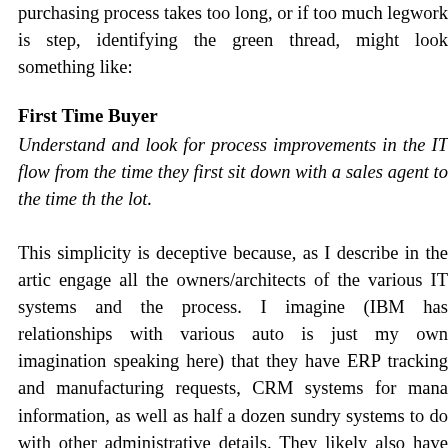purchasing process takes too long, or if too much legwork is step, identifying the green thread, might look something like:
First Time Buyer
Understand and look for process improvements in the IT flow from the time they first sit down with a sales agent to the time th the lot.
This simplicity is deceptive because, as I describe in the artic engage all the owners/architects of the various IT systems and the process. I imagine (IBM has relationships with various auto is just my own imagination speaking here) that they have ERP tracking and manufacturing requests, CRM systems for mana information, as well as half a dozen sundry systems to do with other administrative details. They likely also have systems government agencies around licensing and pollution contro